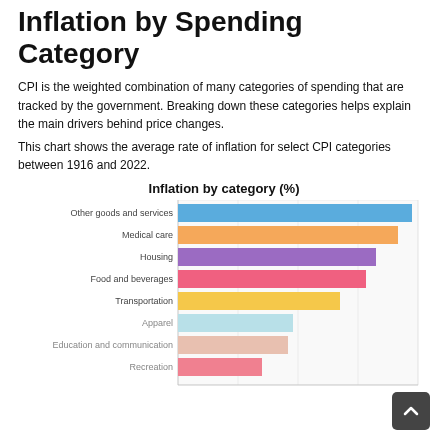Inflation by Spending Category
CPI is the weighted combination of many categories of spending that are tracked by the government. Breaking down these categories helps explain the main drivers behind price changes.
This chart shows the average rate of inflation for select CPI categories between 1916 and 2022.
[Figure (bar-chart): Inflation by category (%)]